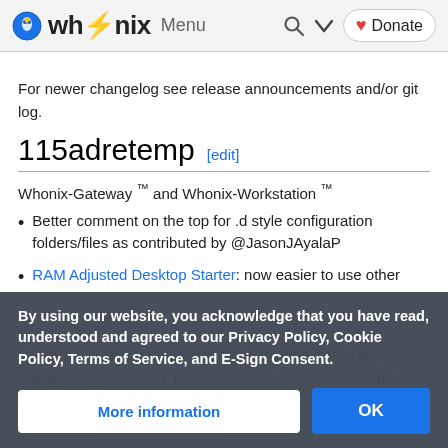whonix Menu  [search] [chevron] [Donate]
For newer changelog see release announcements and/or git log.
115adretemp [edit]
Whonix-Gateway ™ and Whonix-Workstation ™
Better comment on the top for .d style configuration folders/files as contributed by @JasonJAyalaP
RAM Adjusted Desktop Starter: now easier to use other display managers. It simply starts whatever the default display manager is...
By using our website, you acknowledge that you have read, understood and agreed to our Privacy Policy, Cookie Policy, Terms of Service, and E-Sign Consent.
More information  OK